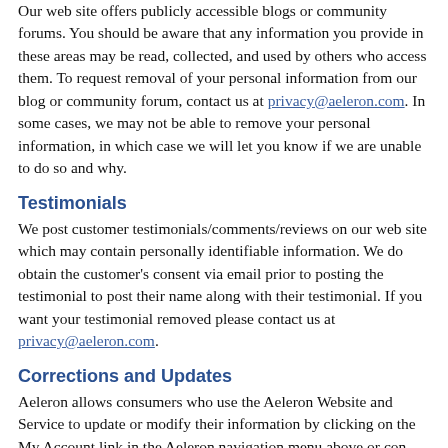Our web site offers publicly accessible blogs or community forums. You should be aware that any information you provide in these areas may be read, collected, and used by others who access them. To request removal of your personal information from our blog or community forum, contact us at privacy@aeleron.com. In some cases, we may not be able to remove your personal information, in which case we will let you know if we are unable to do so and why.
Testimonials
We post customer testimonials/comments/reviews on our web site which may contain personally identifiable information. We do obtain the customer's consent via email prior to posting the testimonial to post their name along with their testimonial. If you want your testimonial removed please contact us at privacy@aeleron.com.
Corrections and Updates
Aeleron allows consumers who use the Aeleron Website and Service to update or modify their information by clicking on the My Account link in the Aeleron navigation menu above or contacting...